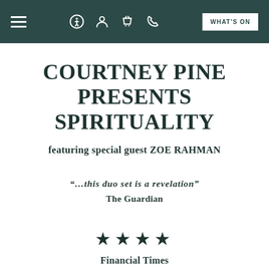Navigation bar with menu, accessibility, user, basket, phone icons and WHAT'S ON button
COURTNEY PINE PRESENTS SPIRITUALITY
featuring special guest ZOE RAHMAN
“…this duo set is a revelation”
The Guardian
★★★★
Financial Times